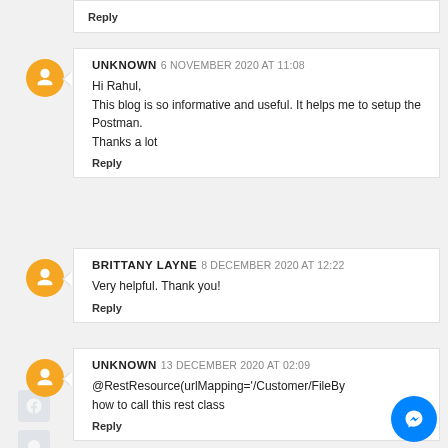Reply
UNKNOWN 6 NOVEMBER 2020 AT 11:08
Hi Rahul,
This blog is so informative and useful. It helps me to setup the Postman.
Thanks a lot
Reply
BRITTANY LAYNE 8 DECEMBER 2020 AT 12:22
Very helpful. Thank you!
Reply
UNKNOWN 13 DECEMBER 2020 AT 02:09
@RestResource(urlMapping='/Customer/FileBy
how to call this rest class
Reply